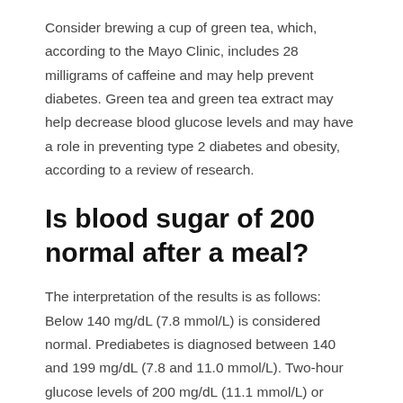Consider brewing a cup of green tea, which, according to the Mayo Clinic, includes 28 milligrams of caffeine and may help prevent diabetes. Green tea and green tea extract may help decrease blood glucose levels and may have a role in preventing type 2 diabetes and obesity, according to a review of research.
Is blood sugar of 200 normal after a meal?
The interpretation of the results is as follows: Below 140 mg/dL (7.8 mmol/L) is considered normal. Prediabetes is diagnosed between 140 and 199 mg/dL (7.8 and 11.0 mmol/L). Two-hour glucose levels of 200 mg/dL (11.1 mmol/L) or higher imply diabetes.
Will Peanut Butter reduce glucose levels?